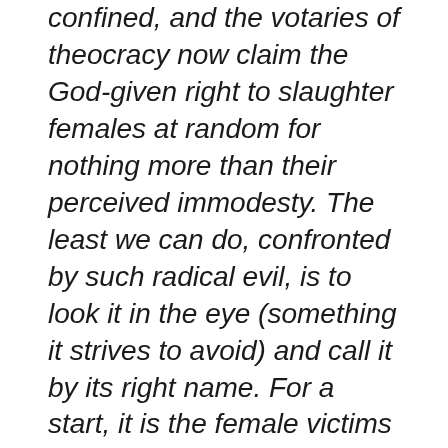confined, and the votaries of theocracy now claim the God-given right to slaughter females at random for nothing more than their perceived immodesty. The least we can do, confronted by such radical evil, is to look it in the eye (something it strives to avoid) and call it by its right name. For a start, it is the female victims of this tyranny who are “disenfranchised,” while something rather worse than “disenfranchisement” awaits those who dare to disagree.